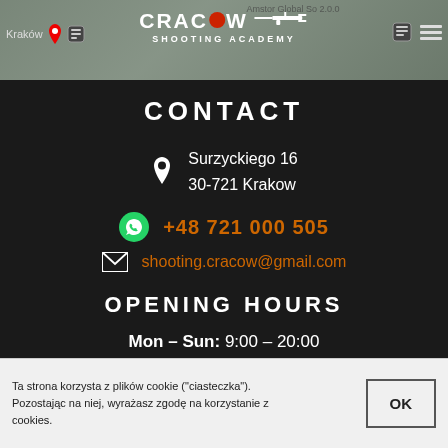CRACOW SHOOTING ACADEMY
CONTACT
Surzyckiego 16
30-721 Krakow
+48 721 000 505
shooting.cracow@gmail.com
OPENING HOURS
Mon – Sun: 9:00 – 20:00
Ta strona korzysta z plików cookie ("ciasteczka"). Pozostając na niej, wyrażasz zgodę na korzystanie z cookies.